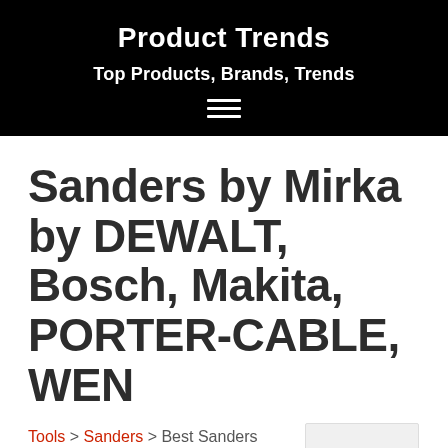Product Trends
Top Products, Brands, Trends
Sanders by Mirka by DEWALT, Bosch, Makita, PORTER-CABLE, WEN
Tools > Sanders > Best Sanders